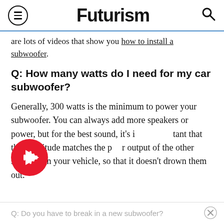Futurism
are lots of videos that show you how to install a subwoofer.
Q: How many watts do I need for my car subwoofer?
Generally, 300 watts is the minimum to power your subwoofer. You can always add more speakers or power, but for the best sound, it's important that the amplitude matches the power output of the other speakers in your vehicle, so that it doesn't drown them out.
Q: Do you have to break in a new subwoofer?